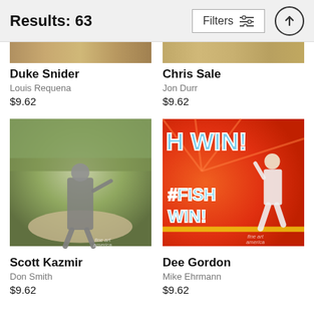Results: 63
Duke Snider
Louis Requena
$9.62
Chris Sale
Jon Durr
$9.62
[Figure (photo): Baseball pitcher Scott Kazmir throwing on the mound with crowd in background]
Scott Kazmir
Don Smith
$9.62
[Figure (photo): Dee Gordon running in front of #FISH WIN! scoreboard display]
Dee Gordon
Mike Ehrmann
$9.62